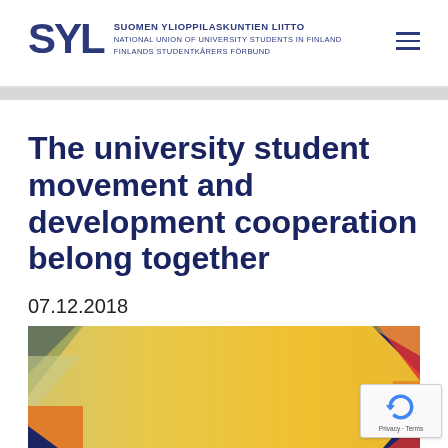SYL SUOMEN YLIOPPILASKUNTIEN LIITTO NATIONAL UNION OF UNIVERSITY STUDENTS IN FINLAND FINLANDS STUDENTKÅRERS FÖRBUND
The university student movement and development cooperation belong together
07.12.2018
[Figure (illustration): Colorful graphic with geometric triangle shapes (dark blue, olive/green, golden yellow, red/pink, orange) on the left and right corners against a golden/yellow gradient background.]